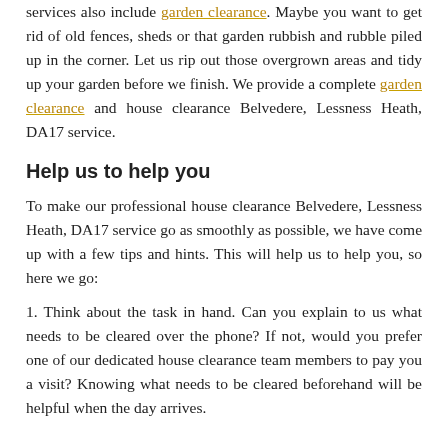services also include garden clearance. Maybe you want to get rid of old fences, sheds or that garden rubbish and rubble piled up in the corner. Let us rip out those overgrown areas and tidy up your garden before we finish. We provide a complete garden clearance and house clearance Belvedere, Lessness Heath, DA17 service.
Help us to help you
To make our professional house clearance Belvedere, Lessness Heath, DA17 service go as smoothly as possible, we have come up with a few tips and hints. This will help us to help you, so here we go:
1. Think about the task in hand. Can you explain to us what needs to be cleared over the phone? If not, would you prefer one of our dedicated house clearance team members to pay you a visit? Knowing what needs to be cleared beforehand will be helpful when the day arrives.